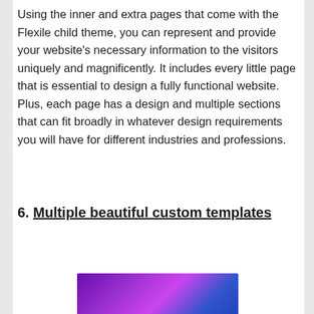Using the inner and extra pages that come with the Flexile child theme, you can represent and provide your website's necessary information to the visitors uniquely and magnificently. It includes every little page that is essential to design a fully functional website. Plus, each page has a design and multiple sections that can fit broadly in whatever design requirements you will have for different industries and professions.
6. Multiple beautiful custom templates
[Figure (photo): Partially visible image showing a dark purple/violet graphic, appears to be a template preview image, cropped at the bottom of the page.]